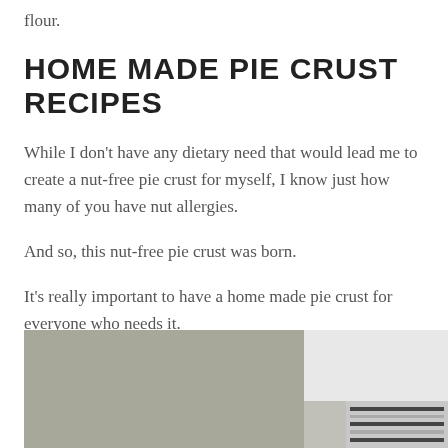flour.
HOME MADE PIE CRUST RECIPES
While I don't have any dietary need that would lead me to create a nut-free pie crust for myself, I know just how many of you have nut allergies.
And so, this nut-free pie crust was born.
It's really important to have a home made pie crust for everyone who needs it.
[Figure (photo): Kitchen counter and shelving unit in background, with a striped object on lower right]